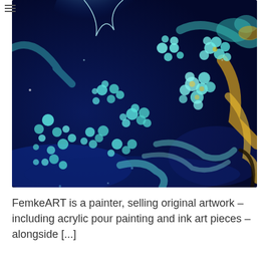[Figure (photo): Close-up abstract acrylic pour painting with deep blue background featuring teal and cyan circular bubble formations, swirling patterns, and accents of gold and yellow on the right side]
FemkeART is a painter, selling original artwork – including acrylic pour painting and ink art pieces – alongside [...]